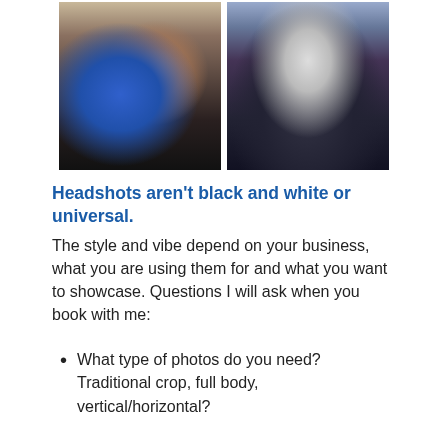[Figure (photo): Two side-by-side photos: left shows a couple in a business/casual setting (man in blue shirt, woman behind him), right shows a man in a dark suit with purple tie standing outdoors.]
Headshots aren't black and white or universal.
The style and vibe depend on your business, what you are using them for and what you want to showcase. Questions I will ask when you book with me:
What type of photos do you need? Traditional crop, full body, vertical/horizontal?